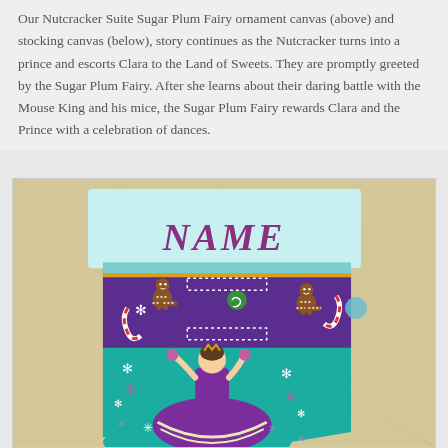Our Nutcracker Suite Sugar Plum Fairy ornament canvas (above) and stocking canvas (below), story continues as the Nutcracker turns into a prince and escorts Clara to the Land of Sweets. They are promptly greeted by the Sugar Plum Fairy. After she learns about their daring battle with the Mouse King and his mice, the Sugar Plum Fairy rewards Clara and the Prince with a celebration of dances.
[Figure (illustration): A needlepoint stocking canvas featuring the Sugar Plum Fairy dancer in a purple dress on a teal background. The top of the stocking has a purple band with gingerbread men, candy canes, and snowflakes. The word NAME is displayed in decorative purple script at the top. Snowflake and star motifs are scattered throughout the teal background.]